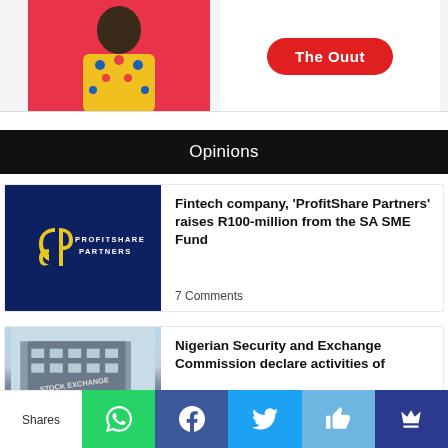[Figure (photo): Top banner with person in colorful African print clothing on red background, with 'The Ouut' red pill button on right]
Opinions
[Figure (logo): ProfitShare Partners dark blue logo background with yellow CP logo mark and white PROFITSHARE PARTNERS text]
Fintech company, 'ProfitShare Partners' raises R100-million from the SA SME Fund
7 Comments
[Figure (photo): Photo of a building/stock exchange exterior]
Nigerian Security and Exchange Commission declare activities of
Shares